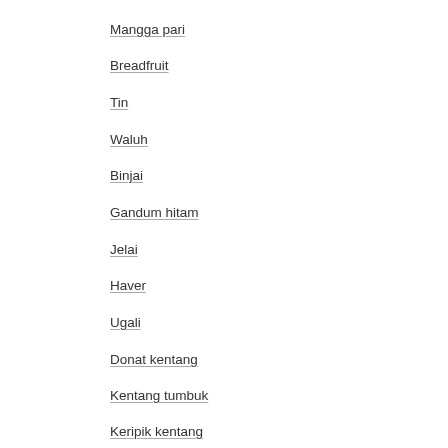Mangga pari
Breadfruit
Tin
Waluh
Binjai
Gandum hitam
Jelai
Haver
Ugali
Donat kentang
Kentang tumbuk
Keripik kentang